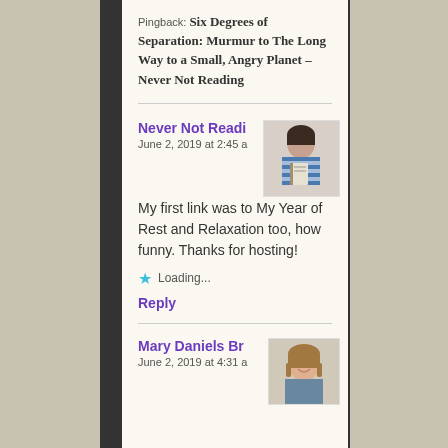Pingback: Six Degrees of Separation: Murmur to The Long Way to a Small, Angry Planet – Never Not Reading
Never Not Reading
June 2, 2019 at 2:45 a
[Figure (photo): Avatar photo of Never Not Reading commenter, person holding a book]
My first link was to My Year of Rest and Relaxation too, how funny. Thanks for hosting!
Loading...
Reply
Mary Daniels Br
June 2, 2019 at 4:31 a
[Figure (photo): Avatar photo of Mary Daniels Br commenter, woman smiling]